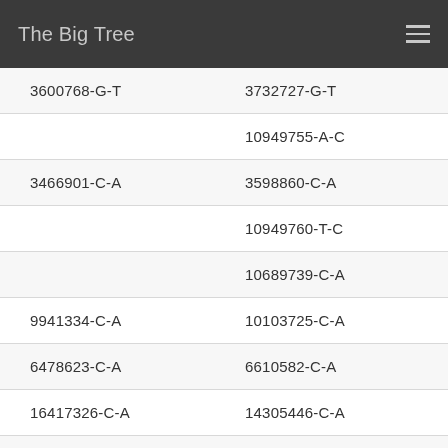The Big Tree
| 3600768-G-T | 3732727-G-T |
|  | 10949755-A-C |
| 3466901-C-A | 3598860-C-A |
|  | 10949760-T-C |
|  | 10689739-C-A |
| 9941334-C-A | 10103725-C-A |
| 6478623-C-A | 6610582-C-A |
| 16417326-C-A | 14305446-C-A |
| 26199723-G-T | 24053576-G-T |
| 13197765-C-A | 11042089-C-A |
|  | 10801640-T-G |